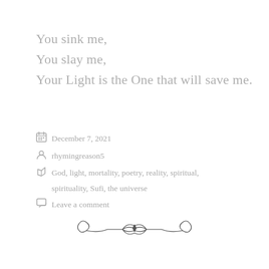You sink me,
You slay me,
Your Light is the One that will save me.
December 7, 2021
rhymingreason5
God, light, mortality, poetry, reality, spiritual, spirituality, Sufi, the universe
Leave a comment
[Figure (illustration): Decorative ornamental divider with scrollwork and bow design]